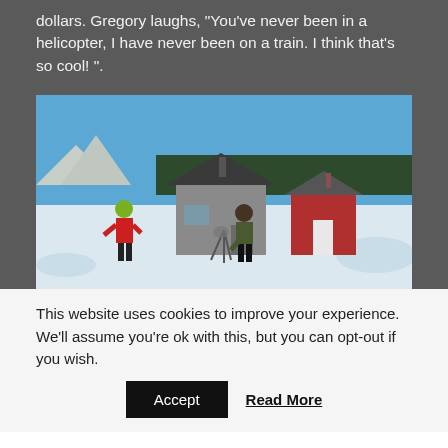dollars. Gregory laughs, "You've never been in a helicopter, I have never been on a train. I think that's so cool! ".
[Figure (photo): Two people standing outside small ice fishing shacks on a frozen snow-covered lake. One person wearing red jacket on the left, another in dark clothing bending near a grey hut in center. A red hut is to the right. Mountains and tree line visible in background under clear blue sky.]
This website uses cookies to improve your experience. We'll assume you're ok with this, but you can opt-out if you wish.
Accept
Read More